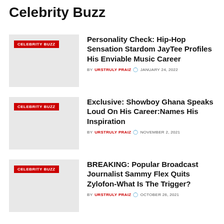Celebrity Buzz
CELEBRITY BUZZ | Personality Check: Hip-Hop Sensation Stardom JayTee Profiles His Enviable Music Career | BY URSTRULY PRAIZ | JANUARY 24, 2022
CELEBRITY BUZZ | Exclusive: Showboy Ghana Speaks Loud On His Career:Names His Inspiration | BY URSTRULY PRAIZ | NOVEMBER 2, 2021
CELEBRITY BUZZ | BREAKING: Popular Broadcast Journalist Sammy Flex Quits Zylofon-What Is The Trigger? | BY URSTRULY PRAIZ | OCTOBER 26, 2021